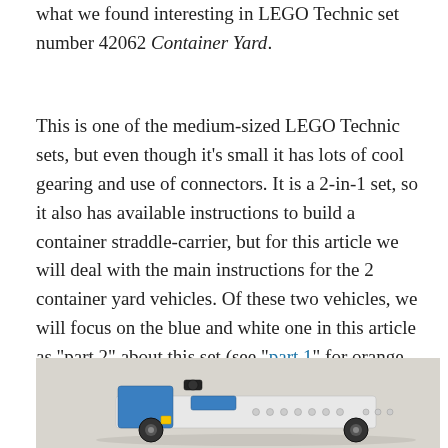what we found interesting in LEGO Technic set number 42062 Container Yard.
This is one of the medium-sized LEGO Technic sets, but even though it's small it has lots of cool gearing and use of connectors. It is a 2-in-1 set, so it also has available instructions to build a container straddle-carrier, but for this article we will deal with the main instructions for the 2 container yard vehicles. Of these two vehicles, we will focus on the blue and white one in this article as “part 2” about this set (see “part 1” for orange vehicle).
[Figure (photo): Photo of a LEGO Technic blue and white container yard vehicle model against a light gray background]